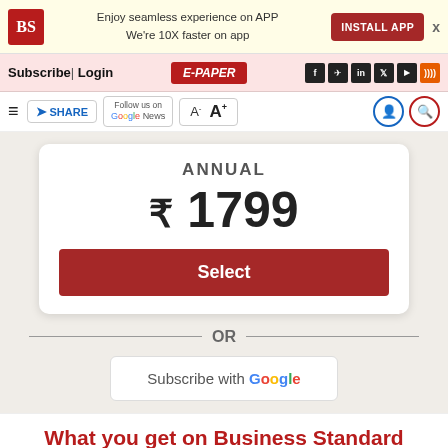BS | Enjoy seamless experience on APP | We're 10X faster on app | INSTALL APP
Subscribe | Login | E-PAPER
SHARE | Follow us on Google News | A- A+
ANNUAL
₹ 1799
Select
OR
Subscribe with Google
What you get on Business Standard Premium?